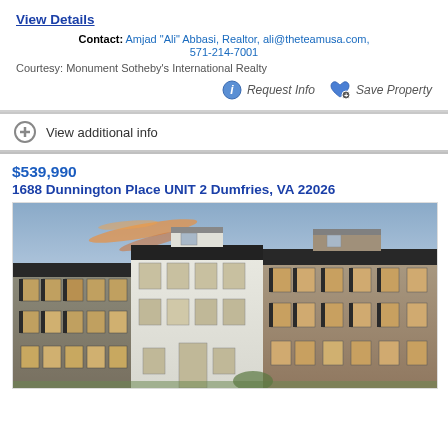View Details
Contact: Amjad "Ali" Abbasi, Realtor, ali@theteamusa.com, 571-214-7001
Courtesy: Monument Sotheby's International Realty
Request Info
Save Property
View additional info
$539,990
1688 Dunnington Place UNIT 2 Dumfries, VA 22026
[Figure (photo): Exterior photo of townhouse row at dusk/sunset, showing multiple 3-story townhouses in white, gray, and brick facades]